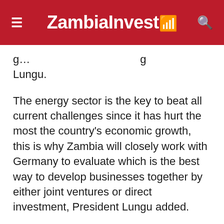ZambiaInvest
g... p... Lungu.
The energy sector is the key to beat all current challenges since it has hurt the most the country's economic growth, this is why Zambia will closely work with Germany to evaluate which is the best way to develop businesses together by either joint ventures or direct investment, President Lungu added.
According to Zambia Electricity Supply Corporation (ZESCO), record decrease on water levels at the Kariba North Bank hydropower station cut its power generation by 67% in 2015 since 99% of the